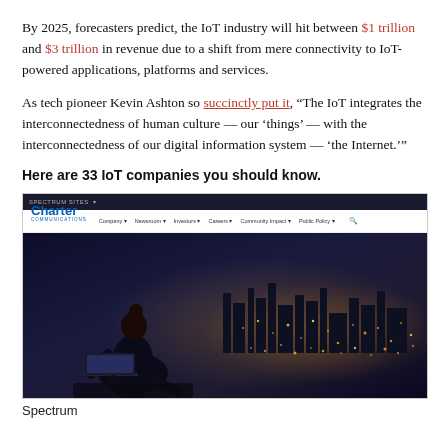By 2025, forecasters predict, the IoT industry will hit between $1 trillion and $3 trillion in revenue due to a shift from mere connectivity to IoT-powered applications, platforms and services.
As tech pioneer Kevin Ashton so succinctly put it, “The IoT integrates the interconnectedness of human culture — our ‘things’ — with the interconnectedness of our digital information system — ‘the Internet.’”
Here are 33 IoT companies you should know.
[Figure (screenshot): Screenshot of Charter Communications website showing the Charter logo, navigation bar with links (Company, Newsroom, Investors, Careers, Community Impact, Public Policy, search icon), and a hero image of a woman sitting on a rooftop using a laptop with a glowing city skyline at night behind her.]
Spectrum